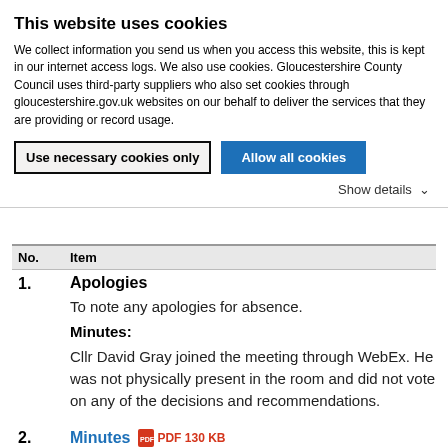This website uses cookies
We collect information you send us when you access this website, this is kept in our internet access logs. We also use cookies. Gloucestershire County Council uses third-party suppliers who also set cookies through gloucestershire.gov.uk websites on our behalf to deliver the services that they are providing or record usage.
Use necessary cookies only | Allow all cookies | Show details
| No. | Item |
| --- | --- |
| 1. | Apologies |
|  | To note any apologies for absence. |
|  | Minutes: Cllr David Gray joined the meeting through WebEx. He was not physically present in the room and did not vote on any of the decisions and recommendations. |
| 2. | Minutes  PDF 130 KB |